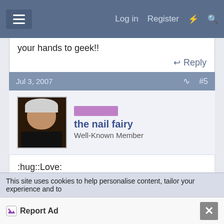Log in  Register
your hands to geek!!
Reply
Jul 3, 2007  #5
the nail fairy
Well-Known Member
:hug::Love:

Congratulations to you Victoria!!

Also it is sooooo nice to hear that your Home Salon is
This site uses cookies to help personalise content, tailor your experience and to
Report Ad